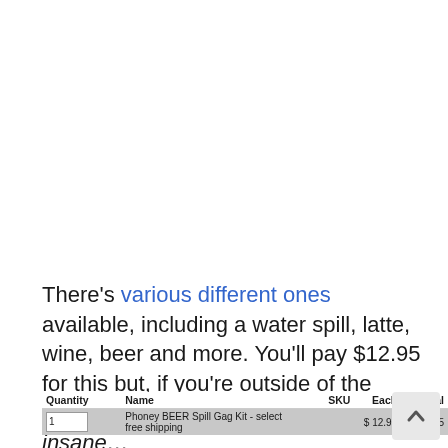There's various different ones available, including a water spill, latte, wine, beer and more. You'll pay $12.95 for this but, if you're outside of the USA, the delivery charge is utterly insane…
| Quantity | Name | SKU | Each | Total |
| --- | --- | --- | --- | --- |
| 1 | Phoney BEER Spill Gag Kit - select free shipping |  | $ 12.95 | $ 12.95 |